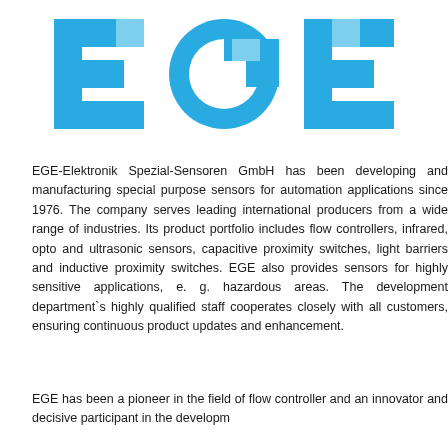[Figure (logo): EGE logo with large blue letters E, G, E on white background with geometric shapes]
EGE-Elektronik Spezial-Sensoren GmbH has been developing and manufacturing special purpose sensors for automation applications since 1976. The company serves leading international producers from a wide range of industries. Its product portfolio includes flow controllers, infrared, opto and ultrasonic sensors, capacitive proximity switches, light barriers and inductive proximity switches. EGE also provides sensors for highly sensitive applications, e. g. hazardous areas. The development department`s highly qualified staff cooperates closely with all customers, ensuring continuous product updates and enhancement.
EGE has been a pioneer in the field of flow controller and an innovator and decisive participant in the development